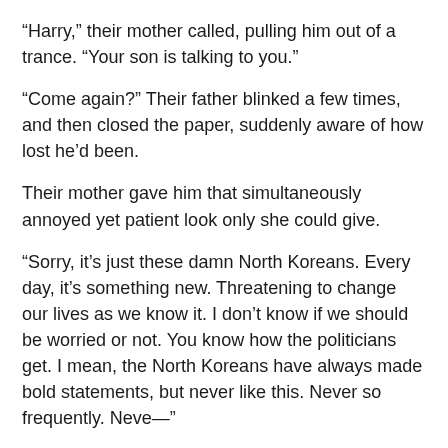“Harry,” their mother called, pulling him out of a trance. “Your son is talking to you.”
“Come again?” Their father blinked a few times, and then closed the paper, suddenly aware of how lost he’d been.
Their mother gave him that simultaneously annoyed yet patient look only she could give.
“Sorry, it’s just these damn North Koreans. Every day, it’s something new. Threatening to change our lives as we know it. I don’t know if we should be worried or not. You know how the politicians get. I mean, the North Koreans have always made bold statements, but never like this. Never so frequently. Neve—”
She cut him off before he could finish. “Harry, you’re on vacation. You’re not at the office. You won’t have to chat with anyone about politics or current events for at least a week. Can you please put the paper away and enjoy yourself? All three of your children go back to college in one week. And this is Theo’s last semester. Would it kill us to be a family?”